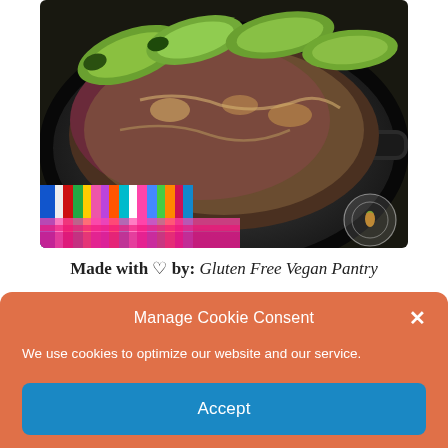[Figure (photo): A cast iron skillet filled with colorful food including avocado slices, beans, rice and toppings, resting on a vibrant striped woven mat. A small circular watermark logo is visible in the lower right of the photo.]
Made with ♡ by: Gluten Free Vegan Pantry
Manage Cookie Consent
We use cookies to optimize our website and our service.
Accept